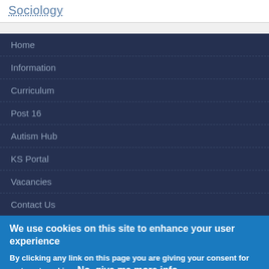Sociology
Home
Information
Curriculum
Post 16
Autism Hub
KS Portal
Vacancies
Contact Us
We use cookies on this site to enhance your user experience
By clicking any link on this page you are giving your consent for us to set cookies. No, give me more info
OK, I agree